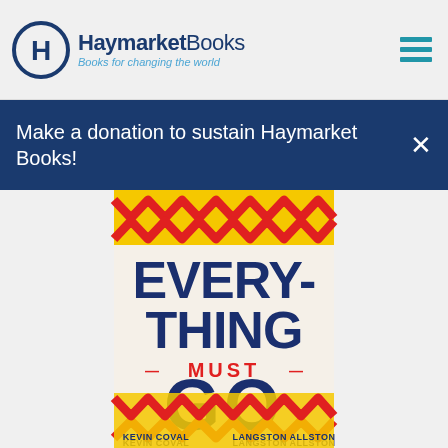Haymarket Books – Books for changing the world
Make a donation to sustain Haymarket Books!
[Figure (illustration): Book cover for 'Everything Must Go' by Kevin Coval and Langston Allston. Bold graffiti-style lettering in navy blue on a cream/white background with a yellow top section decorated with red zigzag/chevron patterns at top and bottom. Text reads: EVERY-THING MUST GO. Authors listed at bottom: KEVIN COVAL and LANGSTON ALLSTON.]